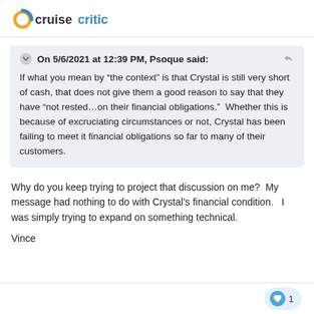cruisecritic
On 5/6/2021 at 12:39 PM, Psoque said: If what you mean by “the context” is that Crystal is still very short of cash, that does not give them a good reason to say that they have “not rested…on their financial obligations.”  Whether this is because of excruciating circumstances or not, Crystal has been failing to meet it financial obligations so far to many of their customers.
Why do you keep trying to project that discussion on me?  My message had nothing to do with Crystal’s financial condition.   I was simply trying to expand on something technical.
Vince